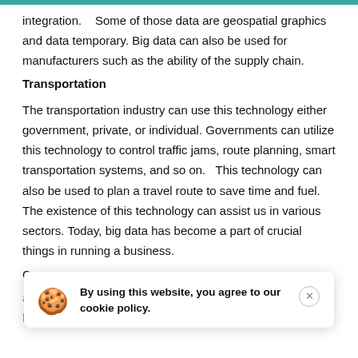integration.    Some of those data are geospatial graphics and data temporary. Big data can also be used for manufacturers such as the ability of the supply chain.
Transportation
The transportation industry can use this technology either government, private, or individual. Governments can utilize this technology to control traffic jams, route planning, smart transportation systems, and so on.   This technology can also be used to plan a travel route to save time and fuel.   The existence of this technology can assist us in various sectors. Today, big data has become a part of crucial things in running a business.
C
a
big data such as making marketing easier, operational,
[Figure (other): Cookie consent banner overlay with cookie emoji icon, text 'By using this website, you agree to our cookie policy.' and a close button]